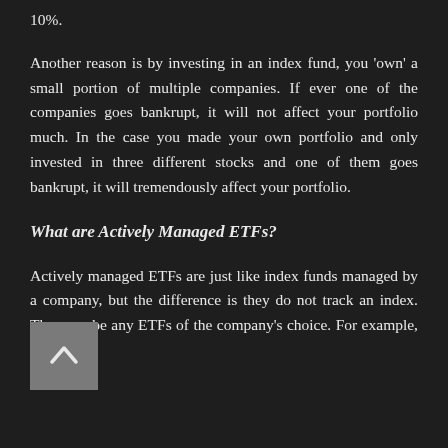10%.
Another reason is by investing in an index fund, you 'own' a small portion of multiple companies. If ever one of the companies goes bankrupt, it will not affect your portfolio much. In the case you made your own portfolio and only invested in three different stocks and one of them goes bankrupt, it will tremendously affect your portfolio.
What are Actively Managed ETFs?
Actively managed ETFs are just like index funds managed by a company, but the difference is they do not track an index. They can be any ETFs of the company's choice. For example, Ark